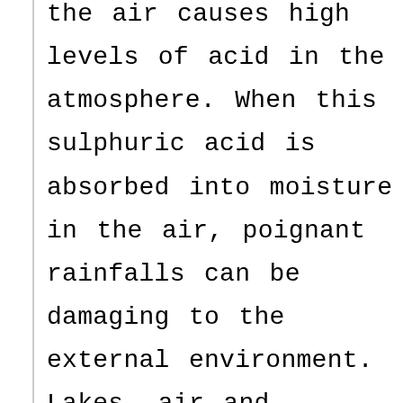the air causes high levels of acid in the atmosphere. When this sulphuric acid is absorbed into moisture in the air, poignant rainfalls can be damaging to the external environment. Lakes, air and ecosystem the world over are